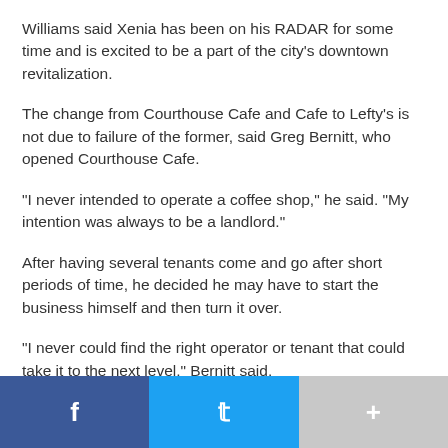Williams said Xenia has been on his RADAR for some time and is excited to be a part of the city's downtown revitalization.
The change from Courthouse Cafe and Cafe to Lefty's is not due to failure of the former, said Greg Bernitt, who opened Courthouse Cafe.
“I never intended to operate a coffee shop,” he said. “My intention was always to be a landlord.”
After having several tenants come and go after short periods of time, he decided he may have to start the business himself and then turn it over.
“I never could find the right operator or tenant that could take it to the next level,” Bernitt said.
He was introduced to Williams by a mutual friend and after a
[Figure (other): Social sharing bar with Facebook (blue), Twitter (cyan), and More (gray) buttons]